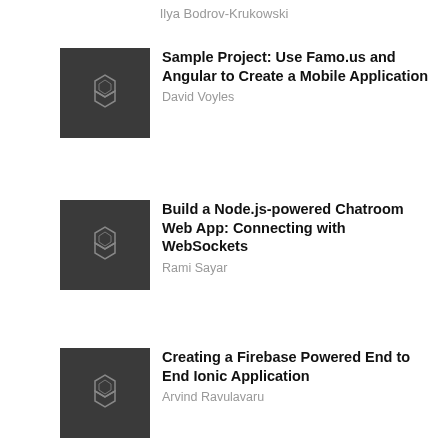Ilya Bodrov-Krukowski
[Figure (logo): SitePoint logo dark square with angular S icon]
Sample Project: Use Famo.us and Angular to Create a Mobile Application
David Voyles
[Figure (logo): SitePoint logo dark square with angular S icon]
Build a Node.js-powered Chatroom Web App: Connecting with WebSockets
Rami Sayar
[Figure (logo): SitePoint logo dark square with angular S icon]
Creating a Firebase Powered End to End Ionic Application
Arvind Ravulavaru